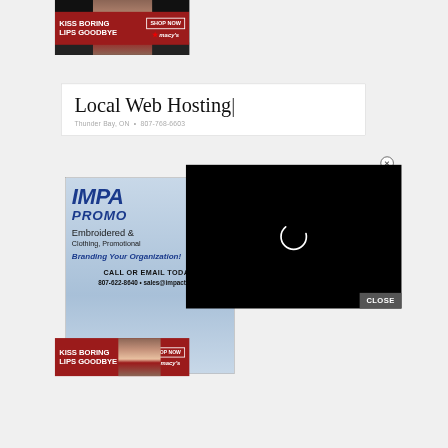[Figure (screenshot): Top Macy's banner ad: dark background with woman face, red lips. Red bar reads KISS BORING LIPS GOODBYE on left, SHOP NOW and macy's logo on right.]
Local Web Hosting
Thunder Bay, ON • 807-768-6603
[Figure (screenshot): Impact Promotional ad (partially visible): blue gradient background, IMPA / PROMO text in dark blue italic, Embroidered & Clothing, Promotional text, Branding Your Organization! in blue bold italic, CALL OR EMAIL TODAY!, 807-622-8640 • sales@impactprom...]
[Figure (screenshot): Black loading overlay with spinning circle indicator in white, and CLOSE button at bottom right]
[Figure (screenshot): Bottom Macy's banner ad: KISS BORING LIPS GOODBYE on left, SHOP NOW and macy's logo on right]